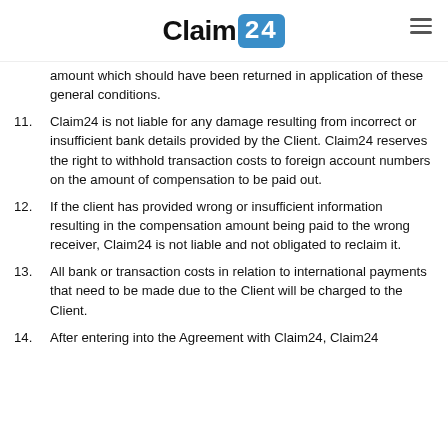Claim24
amount which should have been returned in application of these general conditions.
11. Claim24 is not liable for any damage resulting from incorrect or insufficient bank details provided by the Client. Claim24 reserves the right to withhold transaction costs to foreign account numbers on the amount of compensation to be paid out.
12. If the client has provided wrong or insufficient information resulting in the compensation amount being paid to the wrong receiver, Claim24 is not liable and not obligated to reclaim it.
13. All bank or transaction costs in relation to international payments that need to be made due to the Client will be charged to the Client.
14. After entering into the Agreement with Claim24, Claim24...